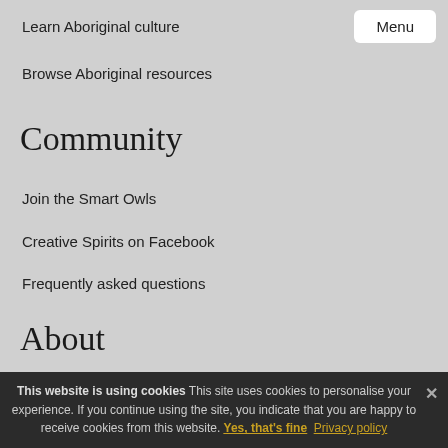Learn Aboriginal culture
Browse Aboriginal resources
Community
Join the Smart Owls
Creative Spirits on Facebook
Frequently asked questions
About
About this site & contact
Terms of use & copyright
Privacy policy
This website is using cookies This site uses cookies to personalise your experience. If you continue using the site, you indicate that you are happy to receive cookies from this website. Yes, that's fine Privacy policy